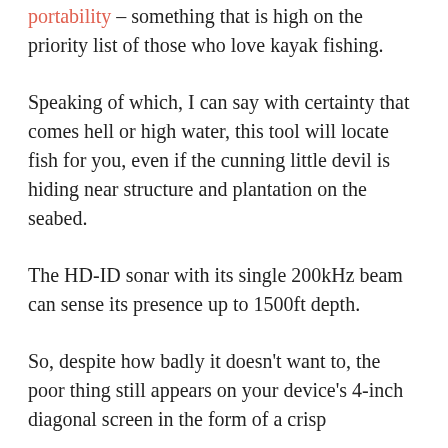portability – something that is high on the priority list of those who love kayak fishing.
Speaking of which, I can say with certainty that comes hell or high water, this tool will locate fish for you, even if the cunning little devil is hiding near structure and plantation on the seabed.
The HD-ID sonar with its single 200kHz beam can sense its presence up to 1500ft depth.
So, despite how badly it doesn't want to, the poor thing still appears on your device's 4-inch diagonal screen in the form of a crisp